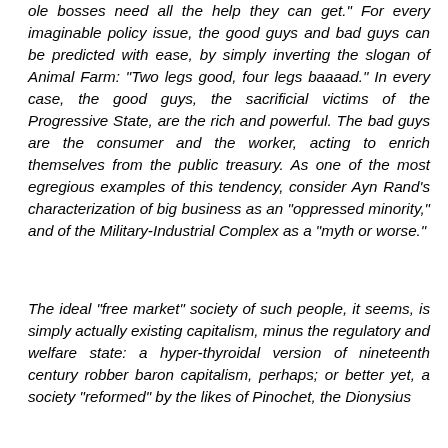ole bosses need all the help they can get." For every imaginable policy issue, the good guys and bad guys can be predicted with ease, by simply inverting the slogan of Animal Farm: "Two legs good, four legs baaaad." In every case, the good guys, the sacrificial victims of the Progressive State, are the rich and powerful. The bad guys are the consumer and the worker, acting to enrich themselves from the public treasury. As one of the most egregious examples of this tendency, consider Ayn Rand's characterization of big business as an "oppressed minority," and of the Military-Industrial Complex as a "myth or worse."
The ideal "free market" society of such people, it seems, is simply actually existing capitalism, minus the regulatory and welfare state: a hyper-thyroidal version of nineteenth century robber baron capitalism, perhaps; or better yet, a society "reformed" by the likes of Pinochet, the Dionysius